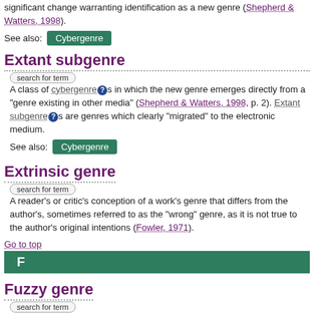significant change warranting identification as a new genre (Shepherd & Watters, 1998).
See also: Cybergenre
Extant subgenre
A class of cybergenres in which the new genre emerges directly from a "genre existing in other media" (Shepherd & Watters, 1998, p. 2). Extant subgenres are genres which clearly "migrated" to the electronic medium.
See also: Cybergenre
Extrinsic genre
A reader's or critic's conception of a work's genre that differs from the author's, sometimes referred to as the "wrong" genre, as it is not true to the author's original intentions (Fowler, 1971).
Go to top
F
Fuzzy genre
A genre that is not really defined – it is still in the works.  The origins may not be clear, or the definitions are not clear.